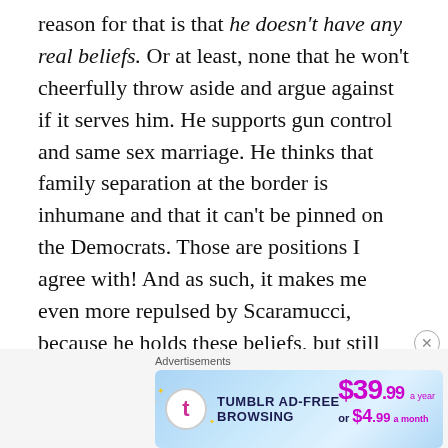reason for that is that he doesn't have any real beliefs. Or at least, none that he won't cheerfully throw aside and argue against if it serves him. He supports gun control and same sex marriage. He thinks that family separation at the border is inhumane and that it can't be pinned on the Democrats. Those are positions I agree with! And as such, it makes me even more repulsed by Scaramucci, because he holds these beliefs, but still chose to work for this administration, however briefly, knowing full well what it stands for. He believes that
[Figure (other): Tumblr Ad-Free Browsing advertisement banner showing $39.99 a year or $4.99 a month pricing with Tumblr logo]